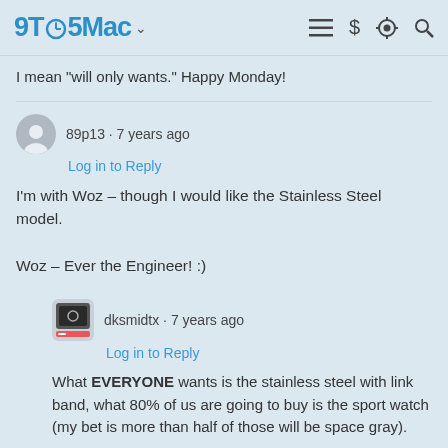9TO5Mac
I mean "will only wants." Happy Monday!
89p13 - 7 years ago
Log in to Reply
I'm with Woz – though I would like the Stainless Steel model.

Woz – Ever the Engineer! :)
dksmidtx - 7 years ago
Log in to Reply
What EVERYONE wants is the stainless steel with link band, what 80% of us are going to buy is the sport watch (my bet is more than half of those will be space gray).
PMZanetti - 7 years ago